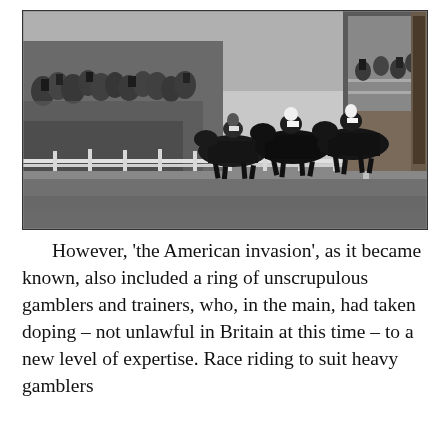[Figure (photo): Black and white historical photograph of a horse race. Multiple dark horses and jockeys racing past a white fence rail. A large crowd of spectators lines the track on the left, many in formal Victorian-era attire. A raised viewing stand or judges' box is visible on the right side of the image.]
However, 'the American invasion', as it became known, also included a ring of unscrupulous gamblers and trainers, who, in the main, had taken doping – not unlawful in Britain at this time – to a new level of expertise. Race riding to suit heavy gamblers